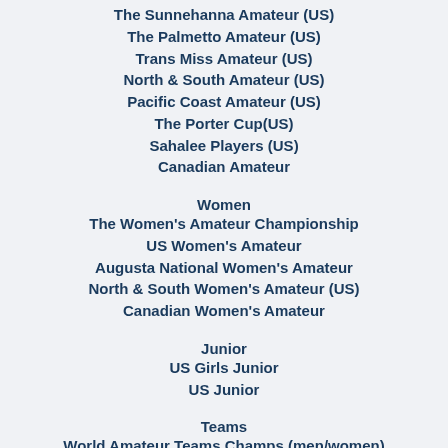The Sunnehanna Amateur (US)
The Palmetto Amateur (US)
Trans Miss Amateur (US)
North & South Amateur (US)
Pacific Coast Amateur (US)
The Porter Cup(US)
Sahalee Players (US)
Canadian Amateur
Women
The Women's Amateur Championship
US Women's Amateur
Augusta National Women's Amateur
North & South Women's Amateur (US)
Canadian Women's Amateur
Junior
US Girls Junior
US Junior
Teams
World Amateur Teams Champs (men/women)